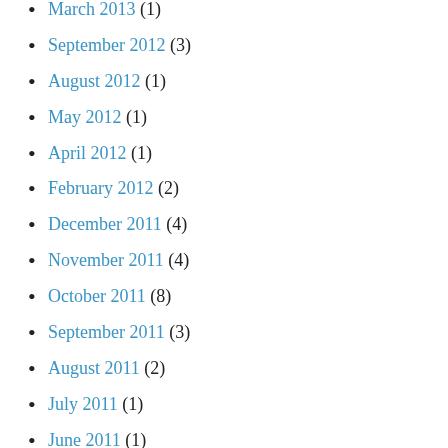March 2013 (1)
September 2012 (3)
August 2012 (1)
May 2012 (1)
April 2012 (1)
February 2012 (2)
December 2011 (4)
November 2011 (4)
October 2011 (8)
September 2011 (3)
August 2011 (2)
July 2011 (1)
June 2011 (1)
May 2011 (2)
April 2011 (3)
March 2011 (2)